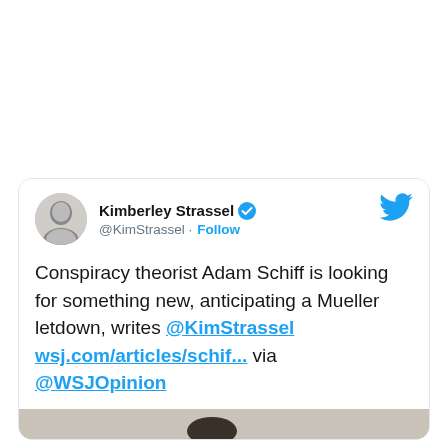[Figure (screenshot): Tweet card from Kimberley Strassel (@KimStrassel) with verified badge and Follow button. Tweet text: 'Conspiracy theorist Adam Schiff is looking for something new, anticipating a Mueller letdown, writes @KimStrassel wsj.com/articles/schif... via @WSJOpinion'. Tweet card includes a partial photo of Adam Schiff at the bottom.]